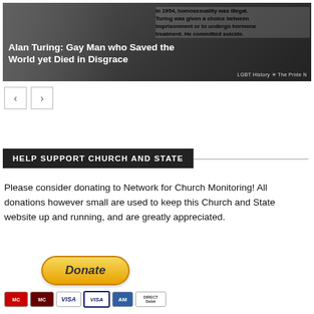[Figure (photo): Banner image of Alan Turing in black and white with overlay text: 'Alan Turing: Gay Man who Saved the World yet Died in Disgrace' and text about 1954 homosexuality being illegal, with LGBT History / The Pride Network attribution.]
HELP SUPPORT CHURCH AND STATE
Please consider donating to Network for Church Monitoring! All donations however small are used to keep this Church and State website up and running, and are greatly appreciated.
[Figure (other): PayPal Donate button with payment card icons below (MasterCard, Maestro, Visa, Visa Debit, American Express, Direct Debit)]